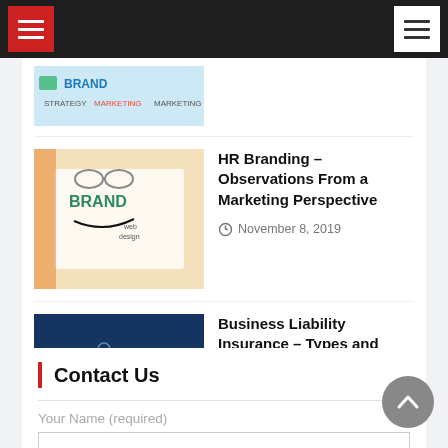Navigation bar with hamburger menus
[Figure (photo): Partial thumbnail of branding/marketing image with BRAND text visible]
[Figure (photo): Thumbnail image of branding worksheet with BRAND written and web design notes]
HR Branding – Observations From a Marketing Perspective
November 8, 2019
[Figure (photo): Thumbnail image of business concept with person standing in front of glowing city/technology background]
Business Liability Insurance – Types and Importance
November 8, 2019
Contact Us
Your Name (required)